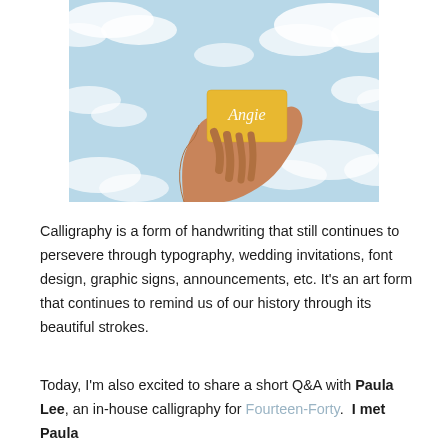[Figure (photo): A hand holding a yellow card with the name 'Angie' written in white calligraphy, against a light blue sky with white clouds background.]
Calligraphy is a form of handwriting that still continues to persevere through typography, wedding invitations, font design, graphic signs, announcements, etc. It's an art form that continues to remind us of our history through its beautiful strokes.
Today, I'm also excited to share a short Q&A with Paula Lee, an in-house calligraphy for Fourteen-Forty.  I met Paula